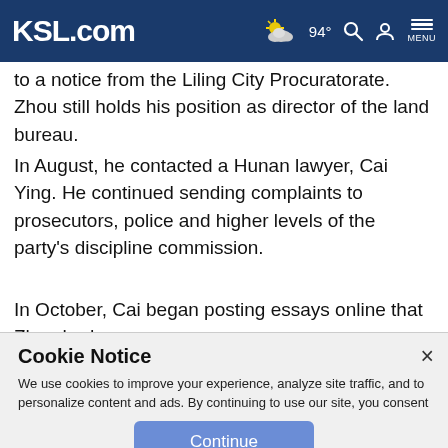KSL.com  94°  [search] [account] MENU
to a notice from the Liling City Procuratorate. Zhou still holds his position as director of the land bureau.
In August, he contacted a Hunan lawyer, Cai Ying. He continued sending complaints to prosecutors, police and higher levels of the party's discipline commission.
In October, Cai began posting essays online that Zhou had
Cookie Notice
We use cookies to improve your experience, analyze site traffic, and to personalize content and ads. By continuing to use our site, you consent to our use of cookies. Please visit our Terms of Use and  Privacy Policy for more information.
Continue